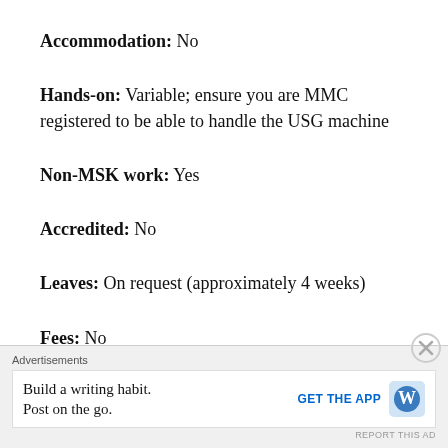Accommodation: No
Hands-on: Variable; ensure you are MMC registered to be able to handle the USG machine
Non-MSK work: Yes
Accredited: No
Leaves: On request (approximately 4 weeks)
Fees: No